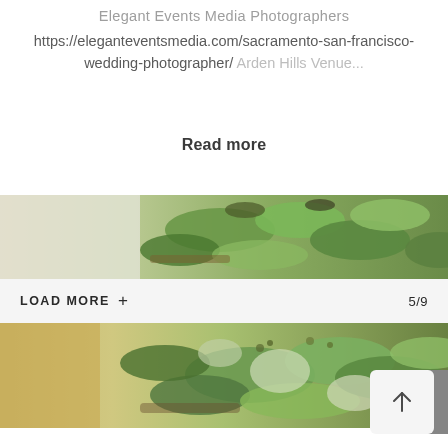Elegant Events Media Photographers
https://eleganteventsmedia.com/sacramento-san-francisco-wedding-photographer/ Arden Hills Venue...
Read more
[Figure (photo): Top portion of a wedding bouquet with green eucalyptus leaves and foliage against a white fabric background]
LOAD MORE + 5/9
[Figure (photo): Wedding bouquet featuring green eucalyptus, dusty miller and various foliage against a blurred golden/green background]
[Figure (illustration): Scroll-to-top arrow button icon]